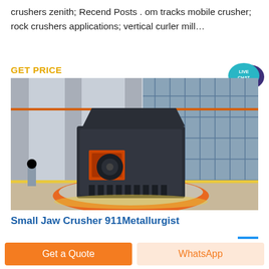crushers zenith; Recend Posts . om tracks mobile crusher; rock crushers applications; vertical curler mill…
GET PRICE
[Figure (photo): Large industrial jaw crusher machine (black/dark grey) sitting on an orange circular base with gravel, in front of a concrete and glass building exterior. Orange electrical cable visible overhead.]
[Figure (illustration): LIVE CHAT button — teal speech bubble with dark purple chat bubble, text 'LIVE CHAT' in white]
Small Jaw Crusher 911Metallurgist
The 911MPEJAC23 is a Small Jaw Crusher of " X 3"
Get a Quote
WhatsApp